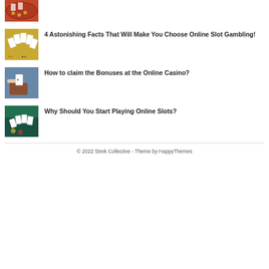[Figure (photo): Casino table with orange felt and chips, top partial view]
[Figure (photo): Playing cards fanned out on yellow surface]
4 Astonishing Facts That Will Make You Choose Online Slot Gambling!
[Figure (photo): Hands holding playing cards at casino table]
How to claim the Bonuses at the Online Casino?
[Figure (photo): Cards and casino chips on green felt surface]
Why Should You Start Playing Online Slots?
© 2022 Strek Collective - Theme by HappyThemes